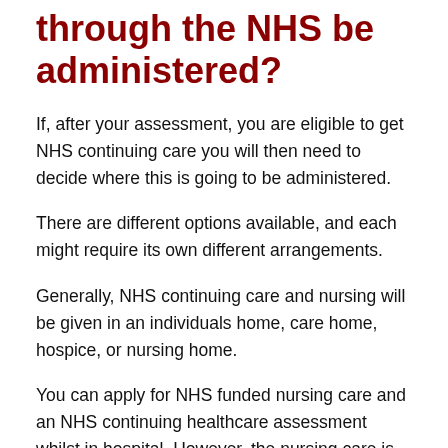through the NHS be administered?
If, after your assessment, you are eligible to get NHS continuing care you will then need to decide where this is going to be administered.
There are different options available, and each might require its own different arrangements.
Generally, NHS continuing care and nursing will be given in an individuals home, care home, hospice, or nursing home.
You can apply for NHS funded nursing care and an NHS continuing healthcare assessment whilst in hospital. However, the nursing care is